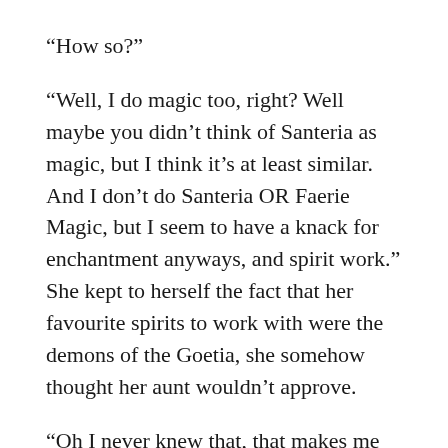“How so?”
“Well, I do magic too, right? Well maybe you didn’t think of Santeria as magic, but I think it’s at least similar. And I don’t do Santeria OR Faerie Magic, but I seem to have a knack for enchantment anyways, and spirit work.” She kept to herself the fact that her favourite spirits to work with were the demons of the Goetia, she somehow thought her aunt wouldn’t approve.
“Oh I never knew that, that makes me really happy to hear, niña”